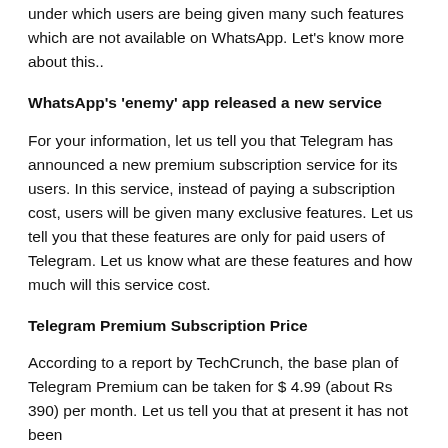under which users are being given many such features which are not available on WhatsApp. Let's know more about this..
WhatsApp's 'enemy' app released a new service
For your information, let us tell you that Telegram has announced a new premium subscription service for its users. In this service, instead of paying a subscription cost, users will be given many exclusive features. Let us tell you that these features are only for paid users of Telegram. Let us know what are these features and how much will this service cost.
Telegram Premium Subscription Price
According to a report by TechCrunch, the base plan of Telegram Premium can be taken for $ 4.99 (about Rs 390) per month. Let us tell you that at present it has not been